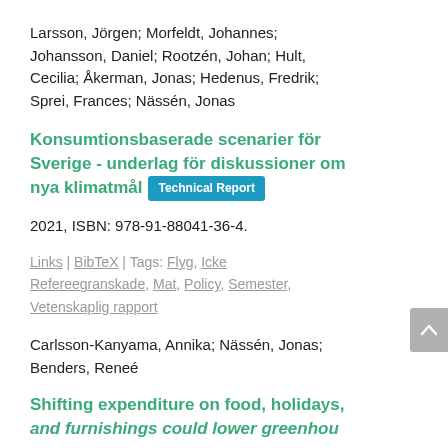Larsson, Jörgen; Morfeldt, Johannes; Johansson, Daniel; Rootzén, Johan; Hult, Cecilia; Åkerman, Jonas; Hedenus, Fredrik; Sprei, Frances; Nässén, Jonas
Konsumtionsbaserade scenarier för Sverige - underlag för diskussioner om nya klimatmål [Technical Report]
2021, ISBN: 978-91-88041-36-4.
Links | BibTeX | Tags: Flyg, Icke Refereegranskade, Mat, Policy, Semester, Vetenskaplig rapport
Carlsson-Kanyama, Annika; Nässén, Jonas; Benders, Reneé
Shifting expenditure on food, holidays, and furnishings could lower greenhouse